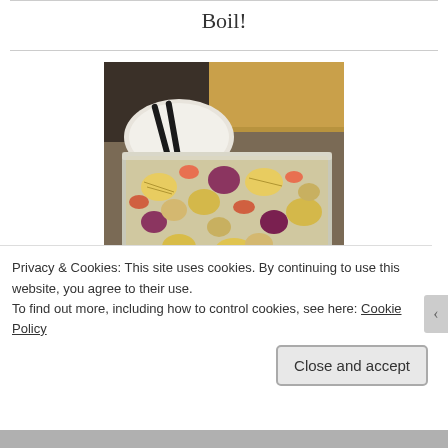Boil!
[Figure (photo): A silver aluminum foil tray filled with corn on the cob pieces, potatoes, shrimp, red onion, and other seafood boil ingredients, placed on a kitchen counter with tongs and a plate visible in the background.]
Privacy & Cookies: This site uses cookies. By continuing to use this website, you agree to their use.
To find out more, including how to control cookies, see here: Cookie Policy
Close and accept